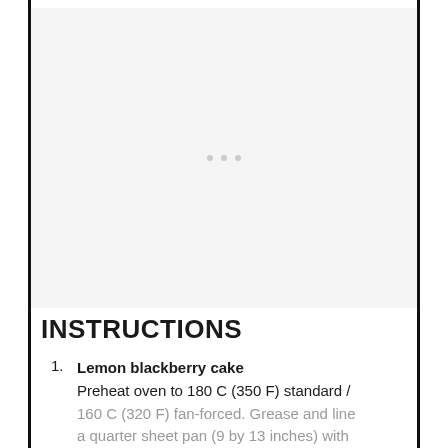[Figure (photo): Placeholder image area with light gray background and three small dots in the center, indicating a loading or placeholder image for a lemon blackberry cake.]
INSTRUCTIONS
Lemon blackberry cake
Preheat oven to 180 C (350 F) standard / 160 C (320 F) fan-forced. Grease and line a quarter sheet pan (9 by 13 inches) with